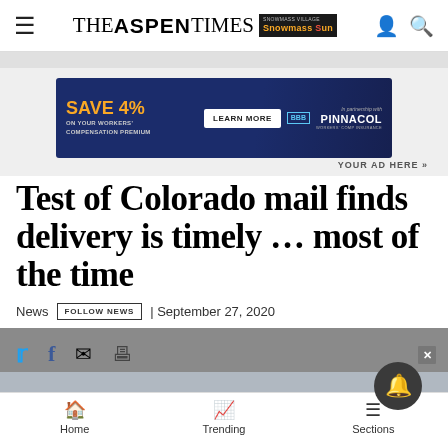THE ASPEN TIMES | Snowmass Sun
[Figure (other): Advertisement banner: SAVE 4% ON YOUR WORKERS' COMPENSATION PREMIUM | LEARN MORE | BBB | In partnership with PINNACOL WORKERS' COMP INSURANCE]
YOUR AD HERE »
Test of Colorado mail finds delivery is timely … most of the time
News  FOLLOW NEWS  | September 27, 2020
Home  Trending  Sections